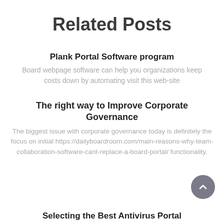Related Posts
Plank Portal Software program
Board webpage software can help you organizations keep costs down by automating visit this web-site
The right way to Improve Corporate Governance
The biggest issue with corporate governance today is definitely the focus on initial https://dailyboardroom.com/main-reasons-why-team-collaboration-software-cant-replace-a-board-portal/ functionality.
Selecting the Best Antivirus Portal